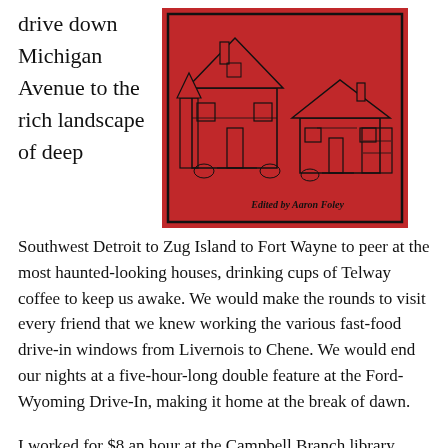drive down Michigan Avenue to the rich landscape of deep
[Figure (illustration): Red book cover showing two illustrated houses (a large Victorian-style house and a smaller bungalow), with the text 'Edited by Aaron Foley' at the bottom right.]
Southwest Detroit to Zug Island to Fort Wayne to peer at the most haunted-looking houses, drinking cups of Telway coffee to keep us awake. We would make the rounds to visit every friend that we knew working the various fast-food drive-in windows from Livernois to Chene. We would end our nights at a five-hour-long double feature at the Ford-Wyoming Drive-In, making it home at the break of dawn.
I worked for $8 an hour at the Campbell Branch library shelving books, and every cent I earned went into my gas